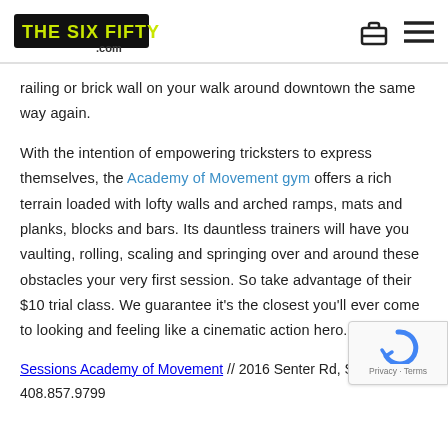THE SIX FIFTY .COM
railing or brick wall on your walk around downtown the same way again.
With the intention of empowering tricksters to express themselves, the Academy of Movement gym offers a rich terrain loaded with lofty walls and arched ramps, mats and planks, blocks and bars. Its dauntless trainers will have you vaulting, rolling, scaling and springing over and around these obstacles your very first session. So take advantage of their $10 trial class. We guarantee it’s the closest you’ll ever come to looking and feeling like a cinematic action hero.
Sessions Academy of Movement // 2016 Senter Rd, San Jose, CA 408.857.9799